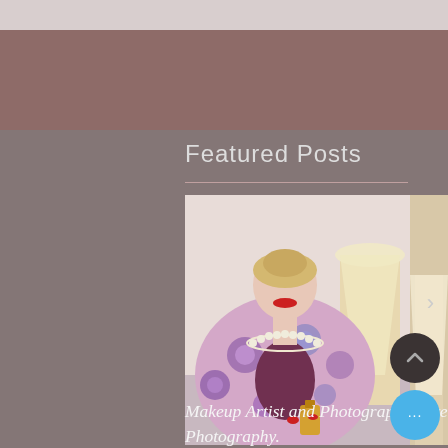[Figure (photo): Screenshot of a blog/website page with a brown/mauve header, 'Featured Posts' section title, and a photo of a woman wearing a floral purple kimono robe with a pearl necklace and red lipstick, holding a perfume bottle.]
Featured Posts
Makeup Artist and Photographer Create Great Gatsby and 1930's Finger Waves and Photography.